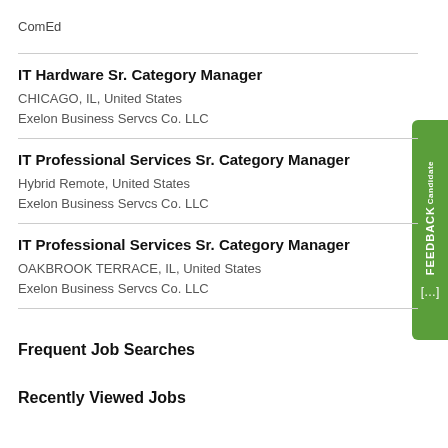ComEd
IT Hardware Sr. Category Manager
CHICAGO, IL, United States
Exelon Business Servcs Co. LLC
IT Professional Services Sr. Category Manager
Hybrid Remote, United States
Exelon Business Servcs Co. LLC
IT Professional Services Sr. Category Manager
OAKBROOK TERRACE, IL, United States
Exelon Business Servcs Co. LLC
Frequent Job Searches
Recently Viewed Jobs